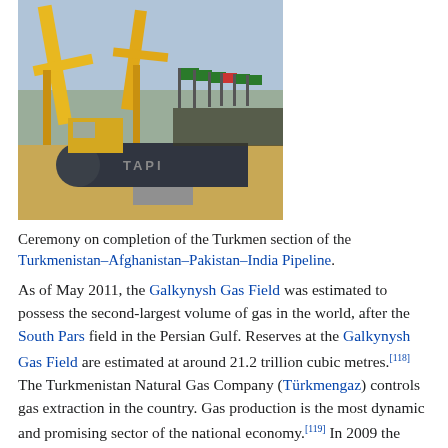[Figure (photo): Construction ceremony photo showing cranes and a large pipeline segment labeled 'TAPI' on the ground, with flags and crowd in the background.]
Ceremony on completion of the Turkmen section of the Turkmenistan–Afghanistan–Pakistan–India Pipeline.
As of May 2011, the Galkynysh Gas Field was estimated to possess the second-largest volume of gas in the world, after the South Pars field in the Persian Gulf. Reserves at the Galkynysh Gas Field are estimated at around 21.2 trillion cubic metres.[118] The Turkmenistan Natural Gas Company (Türkmengaz) controls gas extraction in the country. Gas production is the most dynamic and promising sector of the national economy.[119] In 2009 the government of Turkmenistan began a policy of diversifying export routes for its raw materials.[120]
Prior to 1958 gas production was limited to associated gas from oil wells in western Turkmenistan. In 1958, the first gas wells were drilled at Serhetabat (then Kushky) and at Derweze.[98] Oil and gas fields were discovered in the Central Karakum Desert between